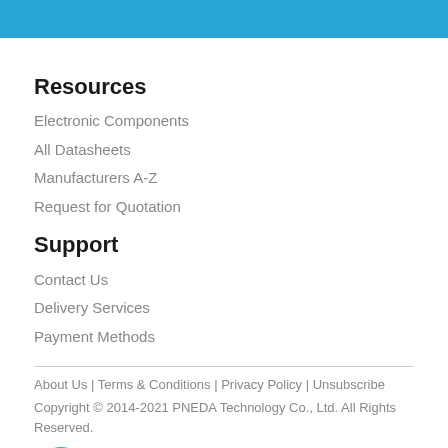Resources
Electronic Components
All Datasheets
Manufacturers A-Z
Request for Quotation
Support
Contact Us
Delivery Services
Payment Methods
About Us | Terms & Conditions | Privacy Policy | Unsubscribe
Copyright © 2014-2021 PNEDA Technology Co., Ltd. All Rights Reserved.
[Figure (logo): Row of certification and security badges: ISO, RoHS, UL Certified, SSL, Norton]